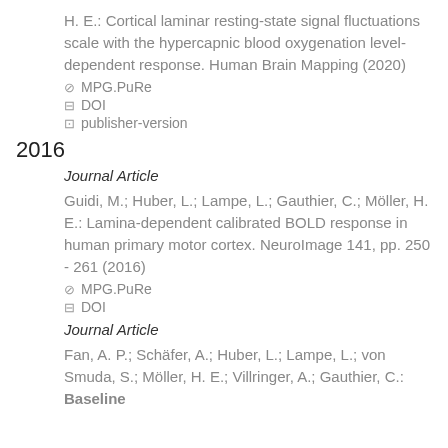H. E.: Cortical laminar resting-state signal fluctuations scale with the hypercapnic blood oxygenation level-dependent response. Human Brain Mapping (2020)
MPG.PuRe
DOI
publisher-version
2016
Journal Article
Guidi, M.; Huber, L.; Lampe, L.; Gauthier, C.; Möller, H. E.: Lamina-dependent calibrated BOLD response in human primary motor cortex. NeuroImage 141, pp. 250 - 261 (2016)
MPG.PuRe
DOI
Journal Article
Fan, A. P.; Schäfer, A.; Huber, L.; Lampe, L.; von Smuda, S.; Möller, H. E.; Villringer, A.; Gauthier, C.: Baseline